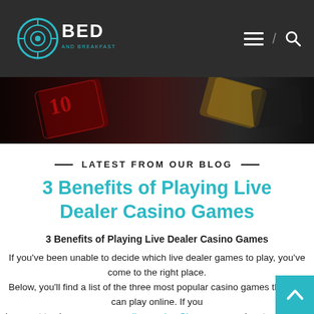BED and Breakfast Games — navigation header with logo, menu icon, slash, and search icon
[Figure (photo): Dark hero image showing playing cards with red suits (hearts/diamonds) on a dark background]
— LATEST FROM OUR BLOG —
3 Benefits of Playing Live Dealer Casino Games
3 Benefits of Playing Live Dealer Casino Games
If you've been unable to decide which live dealer games to play, you've come to the right place. Below, you'll find a list of the three most popular casino games that you can play online. If you have yet to choose a game online casino Singapore, read on to discover the best reasons to play these games online. By the end of this article, you'll be well-equipped to make an informed decision on which to play.